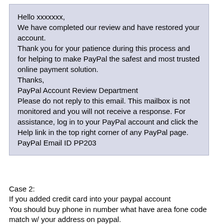Hello xxxxxxx,
We have completed our review and have restored your account.
Thank you for your patience during this process and for helping to make PayPal the safest and most trusted online payment solution.
Thanks,
PayPal Account Review Department
Please do not reply to this email. This mailbox is not monitored and you will not receive a response. For assistance, log in to your PayPal account and click the Help link in the top right corner of any PayPal page.
PayPal Email ID PP203
Case 2:
If you added credit card into your paypal account
You should buy phone in number what have area fone code match w/ your address on paypal.